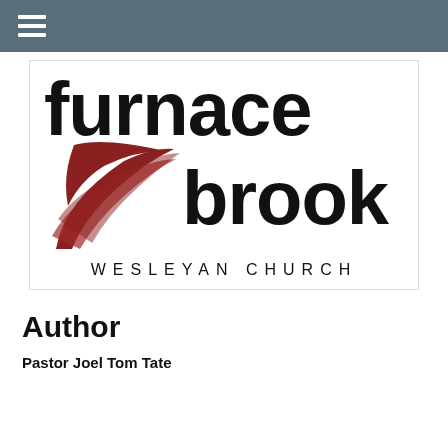[Figure (logo): Furnace Brook Wesleyan Church logo. Large bold black text 'furnace' on top, below it a dark red abstract swoosh/flame icon on the left and bold black 'brook' text on the right, followed by 'WESLEYAN CHURCH' in spaced capitals.]
Author
Pastor Joel Tom Tate